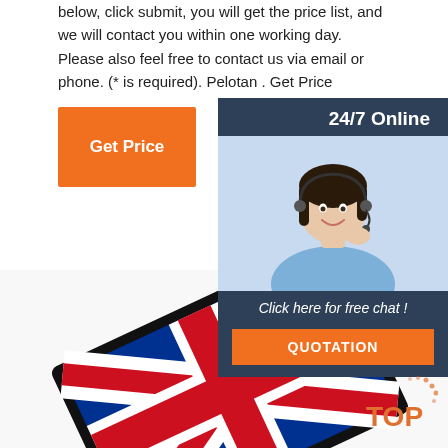below, click submit, you will get the price list, and we will contact you within one working day. Please also feel free to contact us via email or phone. (* is required). Pelotan . Get Price
[Figure (illustration): Orange 'Get Price' button]
[Figure (illustration): 24/7 Online customer service sidebar with agent photo, 'Click here for free chat!' text, and orange QUOTATION button]
[Figure (photo): Embroidered Union Jack (UK flag) patch photo]
[Figure (illustration): Orange 'TOP' text with dotted arc decoration in bottom right corner]